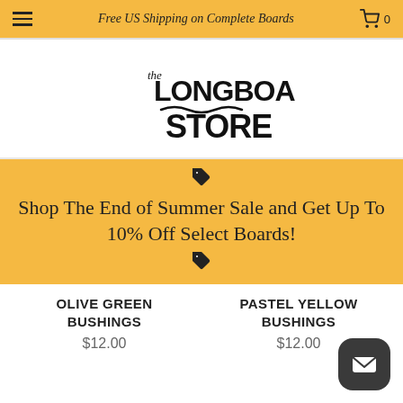Free US Shipping on Complete Boards
[Figure (logo): The Longboard Store logo — handwritten style text]
Shop The End of Summer Sale and Get Up To 10% Off Select Boards!
OLIVE GREEN BUSHINGS $12.00
PASTEL YELLOW BUSHINGS $12.00